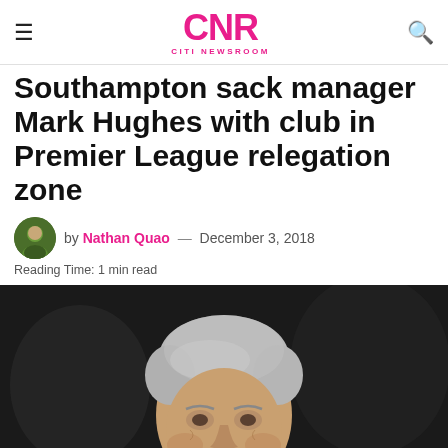CNR CITI NEWSROOM
Southampton sack manager Mark Hughes with club in Premier League relegation zone
by Nathan Quao — December 3, 2018
Reading Time: 1 min read
[Figure (photo): Close-up photo of Mark Hughes, an older man with grey hair, looking to the side against a dark blurred background]